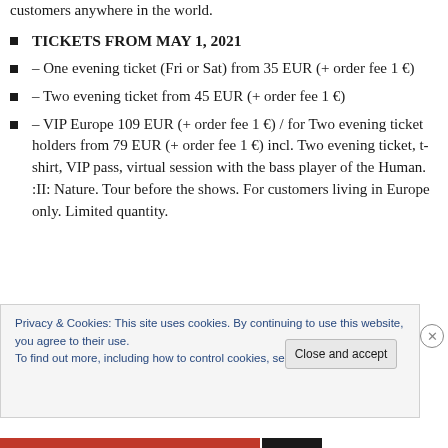customers anywhere in the world.
TICKETS FROM MAY 1, 2021
– One evening ticket (Fri or Sat) from 35 EUR (+ order fee 1 €)
– Two evening ticket from 45 EUR (+ order fee 1 €)
– VIP Europe 109 EUR (+ order fee 1 €) / for Two evening ticket holders from 79 EUR (+ order fee 1 €) incl. Two evening ticket, t-shirt, VIP pass, virtual session with the bass player of the Human. :II: Nature. Tour before the shows. For customers living in Europe only. Limited quantity.
Privacy & Cookies: This site uses cookies. By continuing to use this website, you agree to their use.
To find out more, including how to control cookies, see here: Cookie Policy